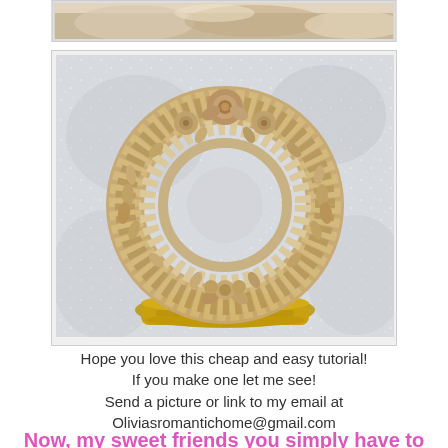[Figure (photo): Partial top image of floral/textile decorative item, cropped at top]
[Figure (photo): A decorative wreath made of fabric flowers and petals in tan/gold tones, displayed on a gilded tray against a sparkly white background]
Hope you love this cheap and easy tutorial!
If you make one let me see!
Send a picture or link to my email at
Oliviasromantichome@gmail.com
Now, my sweet friends you simply have to stop by and say hi to JOY at Markers Miracle and Me
She is having the most fabulous of all tea